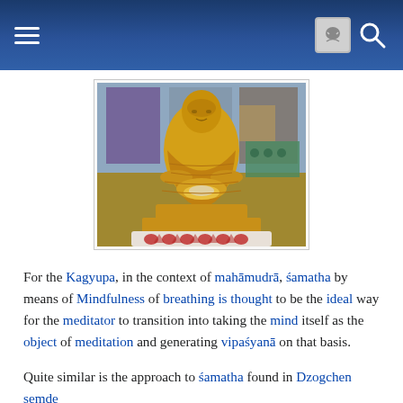Wikipedia mobile header with hamburger menu, user icon, and search icon
[Figure (photo): Golden Buddha statue seated in meditation pose on a lotus pedestal with red and white decorations, inside a temple]
For the Kagyupa, in the context of mahāmudrā, śamatha by means of Mindfulness of breathing is thought to be the ideal way for the meditator to transition into taking the mind itself as the object of meditation and generating vipaśyanā on that basis.
Quite similar is the approach to śamatha found in Dzogchen semde (Sanskrit: mahāsandhi-cittavarga).